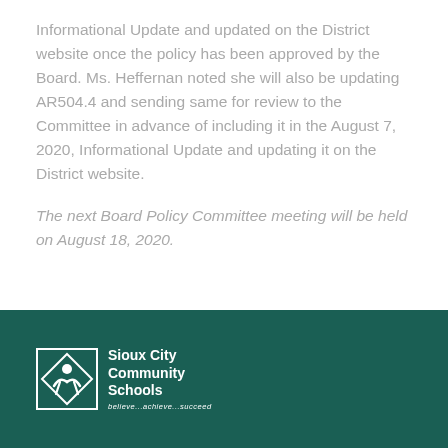Informational Update and updated on the District website once the policy has been approved by the Board. Ms. Heffernan noted she will also be updating AR504.4 and sending same for review to the Committee in advance of including it in the August 7, 2020, Informational Update and updating it on the District website.
The next Board Policy Committee meeting will be held on August 18, 2020.
[Figure (logo): Sioux City Community Schools logo with diamond-shaped icon and tagline 'believe...achieve...succeed' on dark teal background footer]